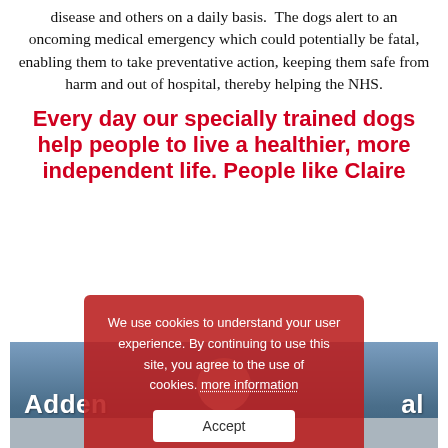disease and others on a daily basis.  The dogs alert to an oncoming medical emergency which could potentially be fatal, enabling them to take preventative action, keeping them safe from harm and out of hospital, thereby helping the NHS.
Every day our specially trained dogs help people to live a healthier, more independent life. People like Claire
[Figure (photo): Photograph of Addenbrooke's Hospital exterior with a person visible in the lower center]
We use cookies to understand your user experience. By continuing to use this site, you agree to the use of cookies. more information